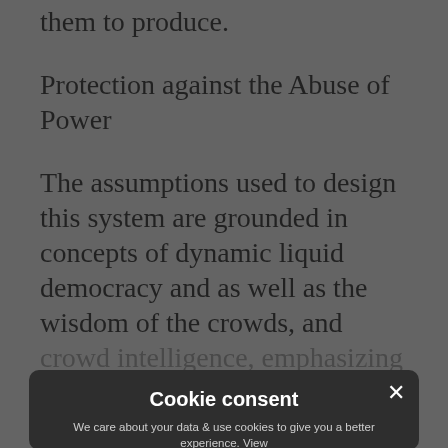them to produce.
Protection against the Abuse of Power
The assumptions used to design this system are grounded in concepts of dynamic liquid democracy and as well as the wisdom of the crowds, and crowd intelligence, emphasizing the more diverse the information and viewpoints expressed, the better the quality of end solutions created.
...acquire and accumulate wealth inhibiting the rapid and clear articulation of power. It compromises accountability, helping create tighter feedback loops between empowering an intermediary and keeping them accountable to the...
Cookie consent
We care about your data & use cookies to give you a better experience. View Privacy Policy
CORE  ANALYTICS  TARGETING  MISC
ACCEPT ALL   DECLINE ALL
SHOW DETAILS
POWERED BY COOKIESCRIPT